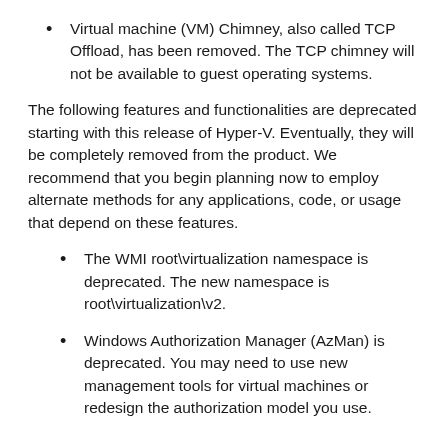Virtual machine (VM) Chimney, also called TCP Offload, has been removed. The TCP chimney will not be available to guest operating systems.
The following features and functionalities are deprecated starting with this release of Hyper-V. Eventually, they will be completely removed from the product. We recommend that you begin planning now to employ alternate methods for any applications, code, or usage that depend on these features.
The WMI root\virtualization namespace is deprecated. The new namespace is root\virtualization\v2.
Windows Authorization Manager (AzMan) is deprecated. You may need to use new management tools for virtual machines or redesign the authorization model you use.